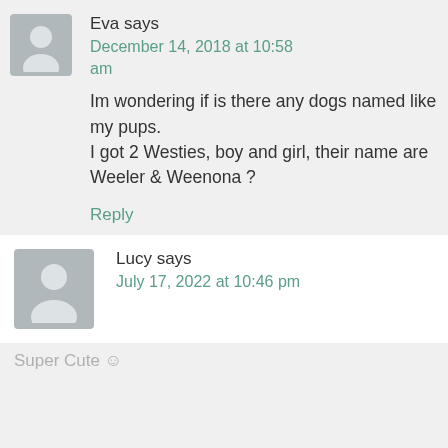Eva says
December 14, 2018 at 10:58 am
Im wondering if is there any dogs named like my pups.
I got 2 Westies, boy and girl, their name are Weeler & Weenona ?
Reply
Lucy says
July 17, 2022 at 10:46 pm
Super Cute ☺